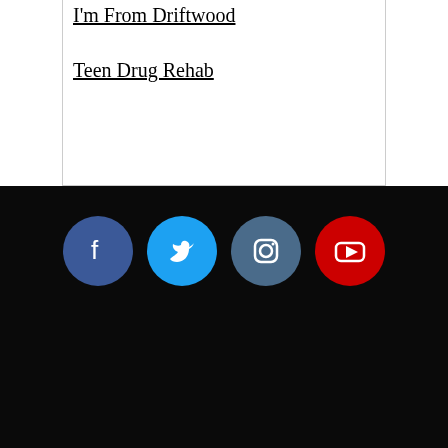I'm From Driftwood
Teen Drug Rehab
[Figure (infographic): Social media icons: Facebook (blue circle), Twitter (cyan circle), Instagram (dark blue circle), YouTube (red circle)]
ARTWORK
SUBMIT
ABOUT
PROJECTS
CONTACT
MERCH